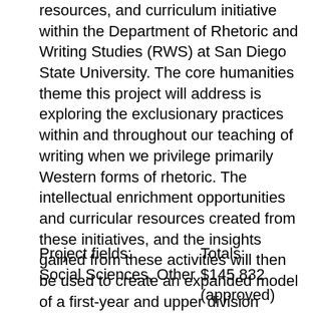resources, and curriculum initiative within the Department of Rhetoric and Writing Studies (RWS) at San Diego State University. The core humanities theme this project will address is exploring the exclusionary practices within and throughout our teaching of writing when we privilege primarily Western forms of rhetoric. The intellectual enrichment opportunities and curricular resources created from these initiatives, and the insights gained from these activities will then be used to create an expanded model of a first-year and upper division writing course curriculum that centers a global rhetorics approach. This grant would assist RWS enhance humanities teaching and learning, specifically in required undergraduate writing courses by expanding our rhetorical instruction to account for the varied and global rhetorical practices.
Project fields:
Social Sciences, Other
Totals:
$145,832 (approved)